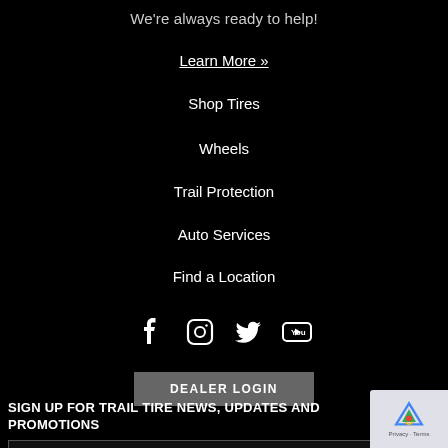We're always ready to help!
Learn More »
Shop Tires
Wheels
Trail Protection
Auto Services
Find a Location
[Figure (infographic): Social media icons: Facebook, Instagram, Twitter, YouTube]
DEALER LOGIN
SIGN UP FOR TRAIL TIRE NEWS, UPDATES AND PROMOTIONS
email address